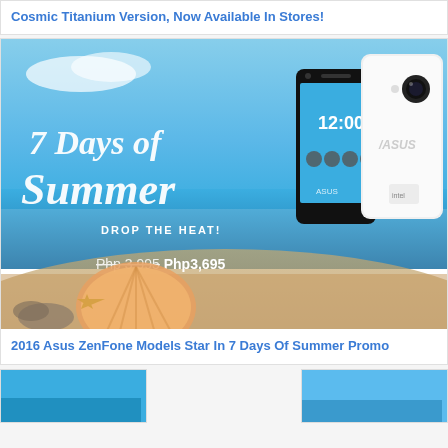Cosmic Titanium Version, Now Available In Stores!
[Figure (photo): ASUS ZenFone 7 Days of Summer promotional image showing two ASUS smartphones against a tropical beach background with shells and starfish. Text reads '7 Days of Summer DROP THE HEAT! Php 3,995 Php3,695']
2016 Asus ZenFone Models Star In 7 Days Of Summer Promo